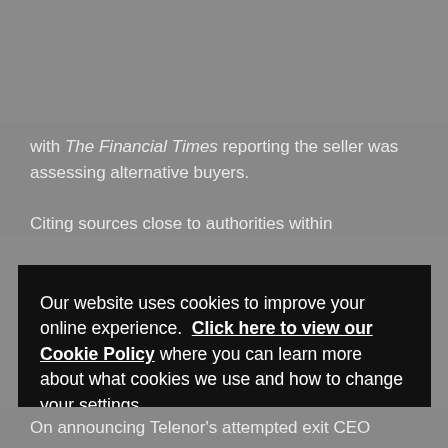[Figure (logo): Mobile World Live logo with hamburger menu button on dark nav bar]
with The Financial Times reporting the seller was assessing alternative buyers.
Citing sources close to authorities within
Our website uses cookies to improve your online experience. Click here to view our Cookie Policy where you can learn more about what cookies we use and how to change your settings.
Yes, I agree to the use of cookies.
Manage Cookies
On announcing Telenor's attempted exit CEO